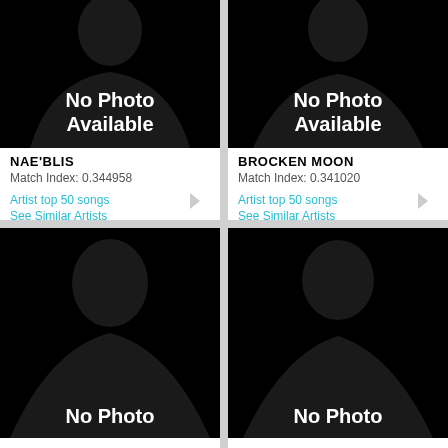[Figure (illustration): Silhouette placeholder image for artist Nae'Blis with text 'No Photo Available']
NAE'BLIS
Match Index: 0.344958
Artist top 50 songs
See Similar Artists
See Artist Info
[Figure (illustration): Silhouette placeholder image for artist Brocken Moon with text 'No Photo Available']
BROCKEN MOON
Match Index: 0.341020
Artist top 50 songs
See Similar Artists
See Artist Info
[Figure (illustration): Silhouette placeholder image partially visible with text 'No Photo']
[Figure (illustration): Silhouette placeholder image partially visible with text 'No Photo']